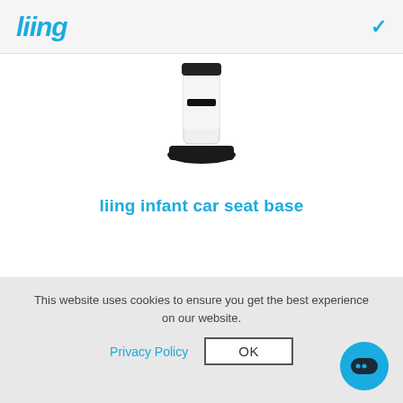liing
[Figure (photo): Partial view of a car seat support leg/base component in black and white, shown from the side]
liing infant car seat base
[Figure (photo): Partial top view of a black infant car seat base]
This website uses cookies to ensure you get the best experience on our website.
Privacy Policy
OK